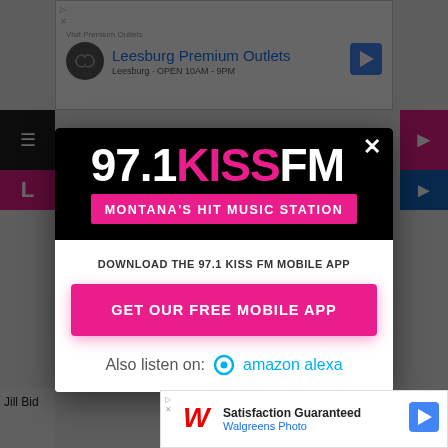[Figure (screenshot): Top advertisement banner for Leesburg Premium Outlets with logo and arrow icon]
[Figure (screenshot): 97.1 KISS FM radio station modal popup overlay on webpage]
97.1KISSFM
MONTANA'S HIT MUSIC STATION
DOWNLOAD THE 97.1 KISS FM MOBILE APP
GET OUR FREE MOBILE APP
Also listen on: amazon alexa
Jill Bid
[Figure (screenshot): Bottom Walgreens Photo advertisement banner with logo and Satisfaction Guaranteed text]